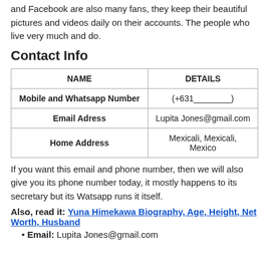and Facebook are also many fans, they keep their beautiful pictures and videos daily on their accounts. The people who live very much and do.
Contact Info
| NAME | DETAILS |
| --- | --- |
| Mobile and Whatsapp Number | (+631________) |
| Email Adress | Lupita Jones@gmail.com |
| Home Address | Mexicali, Mexicali, Mexico |
If you want this email and phone number, then we will also give you its phone number today, it mostly happens to its secretary but its Watsapp runs it itself.
Also, read it: Yuna Himekawa Biography, Age, Height, Net Worth, Husband
Email: Lupita Jones@gmail.com